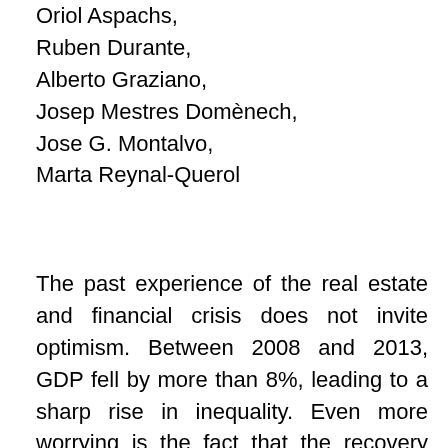Oriol Aspachs,
Ruben Durante,
Alberto Graziano,
Josep Mestres Domènech,
Jose G. Montalvo,
Marta Reynal-Querol
The past experience of the real estate and financial crisis does not invite optimism. Between 2008 and 2013, GDP fell by more than 8%, leading to a sharp rise in inequality. Even more worrying is the fact that the recovery which began in 2014 took a long time to reach all households. The inequality indicators